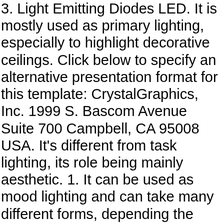3. Light Emitting Diodes LED. It is mostly used as primary lighting, especially to highlight decorative ceilings. Click below to specify an alternative presentation format for this template: CrystalGraphics, Inc. 1999 S. Bascom Avenue Suite 700 Campbell, CA 95008 USA. It's different from task lighting, its role being mainly aesthetic. 1. It can be used as mood lighting and can take many different forms, depending the style, the space, its function and lots of other details. Free Thunder Storm PowerPoint Template October 16, 2015 September 20, 2015. Human Centric Lighting Market by Offering (Hardware (Lighting fixtures and Lighting Controllers) ... PowerPoint PPT presentation | free to download . This leads to the fact that the choice of illumination has a more and more significant impact on the adequate processing of information. You'll also find outdoor wall lighting accessories, like hardware, motion sensors, and more. Not all products are shown below. Uses of light → Lighting is used in interior decoration to → Reveal Features of construction → Conceal space by areas in shadow →